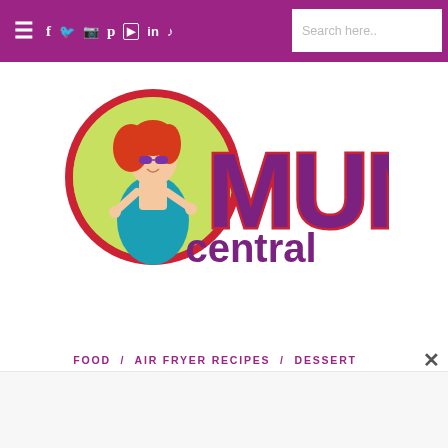Mum Central navigation bar with social icons and search
[Figure (logo): Mum Central logo: cartoon woman with red hair and sunglasses in a green circle with red border, next to large purple 'MUM' text with red outline and purple 'central' text below]
FOOD / AIR FRYER RECIPES / DESSERT